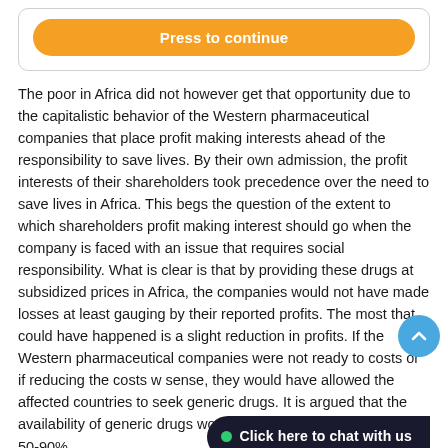[Figure (other): Orange 'Press to continue' button inside a rounded border box at the top of the page]
The poor in Africa did not however get that opportunity due to the capitalistic behavior of the Western pharmaceutical companies that place profit making interests ahead of the responsibility to save lives. By their own admission, the profit interests of their shareholders took precedence over the need to save lives in Africa. This begs the question of the extent to which shareholders profit making interest should go when the company is faced with an issue that requires social responsibility. What is clear is that by providing these drugs at subsidized prices in Africa, the companies would not have made losses at least gauging by their reported profits. The most that could have happened is a slight reduction in profits. If the Western pharmaceutical companies were not ready to [reduce/absorb the] costs or if reducing the costs w[ould not make economic] sense, they would have allowed the affected countries to seek generic drugs. It is argued that the availability of generic drugs would reduce the prices of drugs by 50-90%.